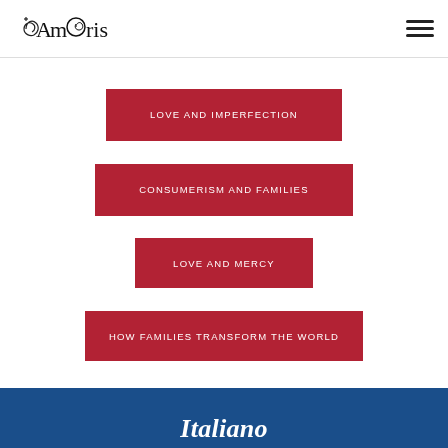Amoris
LOVE AND IMPERFECTION
CONSUMERISM AND FAMILIES
LOVE AND MERCY
HOW FAMILIES TRANSFORM THE WORLD
Italiano